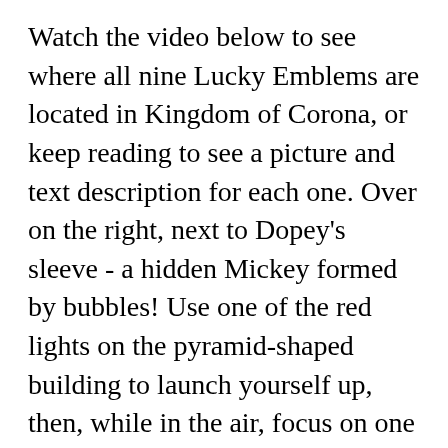Watch the video below to see where all nine Lucky Emblems are located in Kingdom of Corona, or keep reading to see a picture and text description for each one. Over on the right, next to Dopey's sleeve - a hidden Mickey formed by bubbles! Use one of the red lights on the pyramid-shaped building to launch yourself up, then, while in the air, focus on one of the lights on the building across the highway. A "Hidden Mickey" can refer to any Disney-related object hidden in one of the various Disney Parks for visitors to find. AC Valhalla Hidden Ones Armor Set Locations – Ratae Bureau Armor & Londinium key, Sword Kits – Ghost of Tsushima Pillars of Honor Locations, GTA Online Bureau Planner...